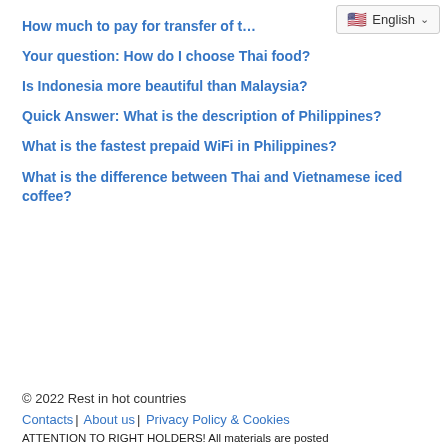[Figure (screenshot): Language selector widget showing US flag and 'English' with a dropdown chevron]
How much to pay for transfer of t…
Your question: How do I choose Thai food?
Is Indonesia more beautiful than Malaysia?
Quick Answer: What is the description of Philippines?
What is the fastest prepaid WiFi in Philippines?
What is the difference between Thai and Vietnamese iced coffee?
© 2022 Rest in hot countries
Contacts | About us | Privacy Policy & Cookies
ATTENTION TO RIGHT HOLDERS! All materials are posted…